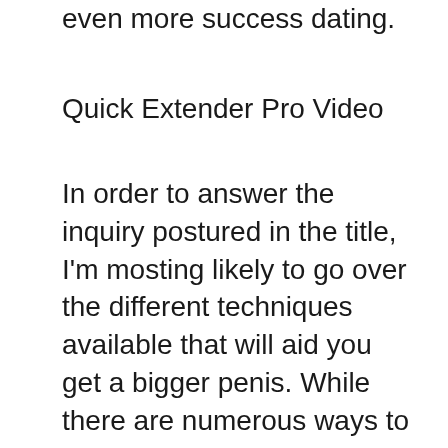even more success dating.
Quick Extender Pro Video
In order to answer the inquiry postured in the title, I'm mosting likely to go over the different techniques available that will aid you get a bigger penis. While there are numerous ways to medically improve your penis dimension, a lot of the treatments are pricey and also a little bit high-risk, at the same time. The majority of us are stuck utilizing what we have. However, it turns out, having a large penis comes with it share of problems, too. This article will certainly talk about a few of the top concerns people have concerning their penises as well as what